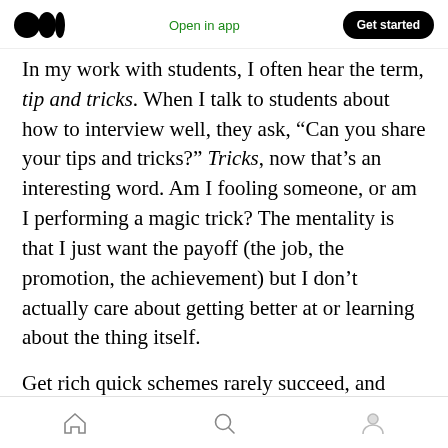Medium logo | Open in app | Get started
In my work with students, I often hear the term, tip and tricks. When I talk to students about how to interview well, they ask, “Can you share your tips and tricks?” Tricks, now that’s an interesting word. Am I fooling someone, or am I performing a magic trick? The mentality is that I just want the payoff (the job, the promotion, the achievement) but I don’t actually care about getting better at or learning about the thing itself.
Get rich quick schemes rarely succeed, and even when it does, it brings about no real fulfillment. People then need to look to the next get rich
Home | Search | Profile